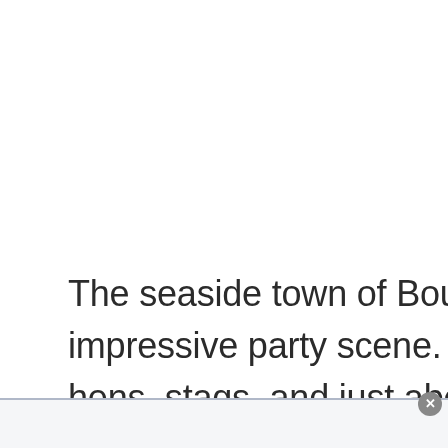The seaside town of Bournemouth is home to an impressive party scene. Popular with students, friends, hens, stags, and just about everyone in-between, it's fair to say